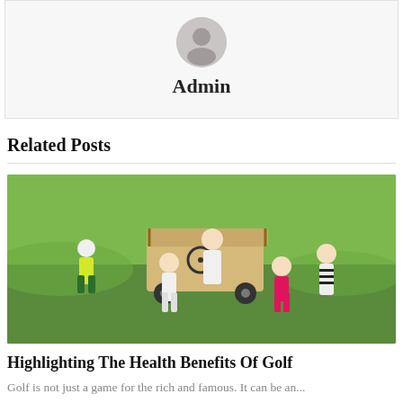Admin
Related Posts
[Figure (photo): Group of children in golf attire posing with a golf cart on a green golf course. Children are wearing caps, sunglasses, and colorful polo shirts.]
Highlighting The Health Benefits Of Golf
Golf is not just a game for the rich and famous. It can be an...